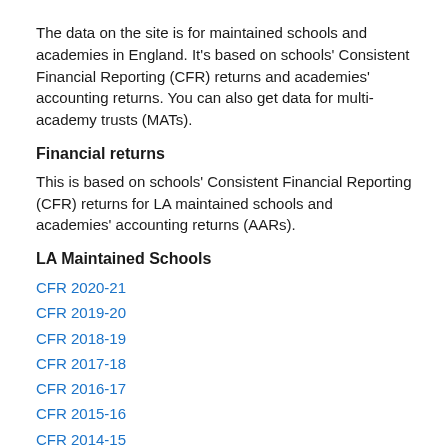The data on the site is for maintained schools and academies in England. It’s based on schools’ Consistent Financial Reporting (CFR) returns and academies’ accounting returns. You can also get data for multi-academy trusts (MATs).
Financial returns
This is based on schools’ Consistent Financial Reporting (CFR) returns for LA maintained schools and academies’ accounting returns (AARs).
LA Maintained Schools
CFR 2020-21
CFR 2019-20
CFR 2018-19
CFR 2017-18
CFR 2016-17
CFR 2015-16
CFR 2014-15
Academies